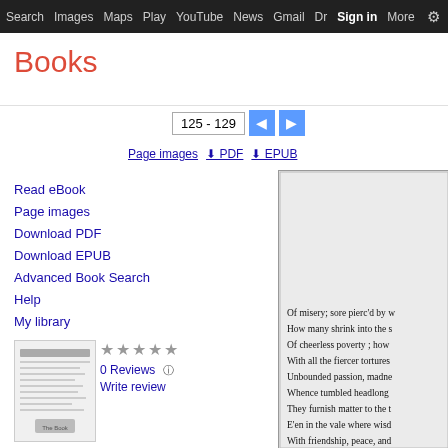Search  Images  Maps  Play  YouTube  News  Gmail  Drive  More  Sign in
Books
125 - 129
Page images  ⬇ PDF  ⬇ EPUB
Read eBook
Page images
Download PDF
Download EPUB
Advanced Book Search
Help
My library
[Figure (illustration): Book cover thumbnail for The Book of Poetry]
★★★★★
0 Reviews
Write review
The Book of Poetry
By Bennett George Johns
[Figure (screenshot): Scanned book page showing poetry text: Of misery; sore pierc'd by w... / How many shrink into the s... / Of cheerless poverty ; how ... / With all the fiercer tortures ... / Unbounded passion, madne... / Whence tumbled headlong ... / They furnish matter to the t... / E'en in the vale where wisd... / With friendship, peace, and... / How many, rack'd with hon... / In deep-retir'd distress ; how...]